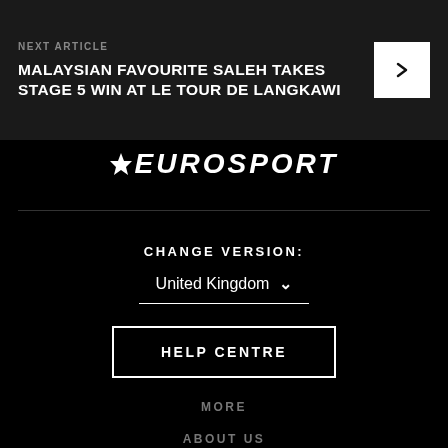NEXT ARTICLE
MALAYSIAN FAVOURITE SALEH TAKES STAGE 5 WIN AT LE TOUR DE LANGKAWI
[Figure (logo): Eurosport logo with star icon]
CHANGE VERSION:
United Kingdom
HELP CENTRE
MORE
ABOUT US